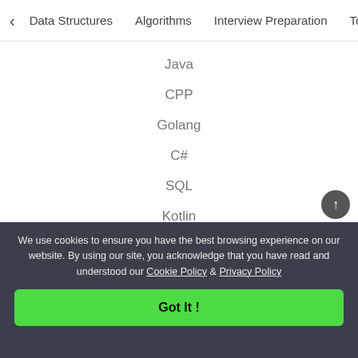< Data Structures   Algorithms   Interview Preparation   To>
Java
CPP
Golang
C#
SQL
Kotlin
Web Development
Web Tutorials
Django Tutorial
We use cookies to ensure you have the best browsing experience on our website. By using our site, you acknowledge that you have read and understood our Cookie Policy & Privacy Policy
Got It !